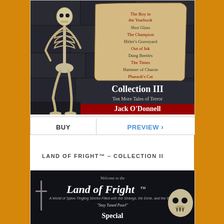[Figure (illustration): Book cover for 'Collection III: Ten More Tales of Terror' by Jack O'Donnell. Shows a skeleton figure on a dark stone wall background, with a parchment scroll listing story titles: The Boy in the Yearbook, Shot Glass, The Champion, Hitler's Graveyard, Out of Ink, Dung Beetles, The Tinies, Hammer of Charon, Pharaoh's Cat. Bottom has 'Collection III - Ten More Tales of Terror' and author name 'Jack O'Donnell' on red banner.]
BUY   PREVIEW ›
LAND OF FRIGHT™ – COLLECTION II
[Figure (illustration): Book cover for 'Land of Fright Collection II'. Dark background with text 'Welcome to the Land of Fright™', subtitle 'A World of Spine-Tingling Stories Filled with the Strange, the Eerie, and the Weird', tagline 'Stay Tuned Pearl', and word 'Special' at bottom. Skull visible on right side.]